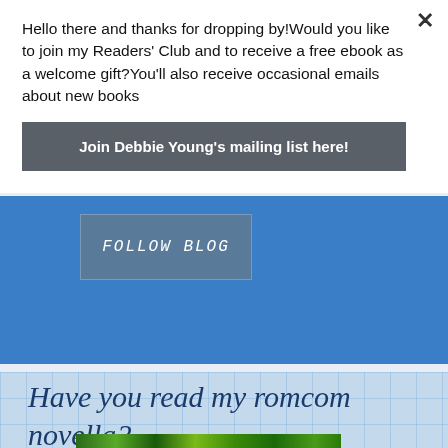Hello there and thanks for dropping by!Would you like to join my Readers' Club and to receive a free ebook as a welcome gift?You'll also receive occasional emails about new books
Join Debbie Young's mailing list here!
[Figure (screenshot): Blue banner section with FOLLOW BLOG button in grey-blue box]
[Figure (screenshot): Light blue notebook grid background with handwritten-style italic dark blue text reading 'Have you read my romcom novella?' and colorful book image strip at bottom]